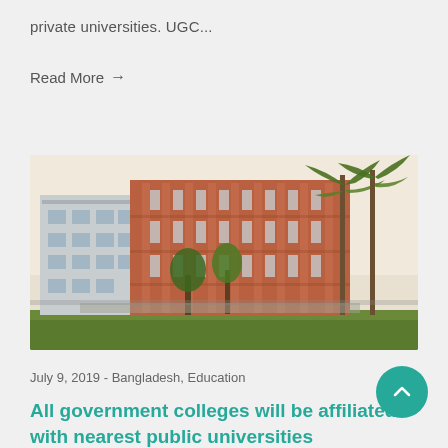private universities. UGC...
Read More →
[Figure (photo): A multi-storey brick and concrete university building with trees and palm trees in the background, surrounded by green grass.]
July 9, 2019 - Bangladesh, Education
All government colleges will be affiliated with nearest public universities